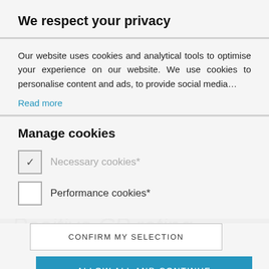We respect your privacy
Our website uses cookies and analytical tools to optimise your experience on our website. We use cookies to personalise content and ads, to provide social media…
Read more
Manage cookies
✓ Necessary cookies*
Performance cookies*
CONFIRM MY SELECTION
ALLOW ALL AND CONTINUE